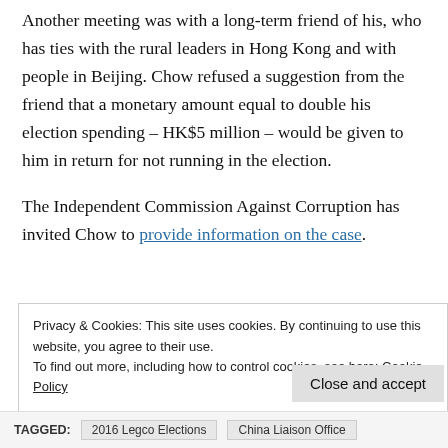Another meeting was with a long-term friend of his, who has ties with the rural leaders in Hong Kong and with people in Beijing. Chow refused a suggestion from the friend that a monetary amount equal to double his election spending – HK$5 million – would be given to him in return for not running in the election.
The Independent Commission Against Corruption has invited Chow to provide information on the case.
Privacy & Cookies: This site uses cookies. By continuing to use this website, you agree to their use. To find out more, including how to control cookies, see here: Cookie Policy
Close and accept
TAGGED: 2016 Legco Elections  China Liaison Office